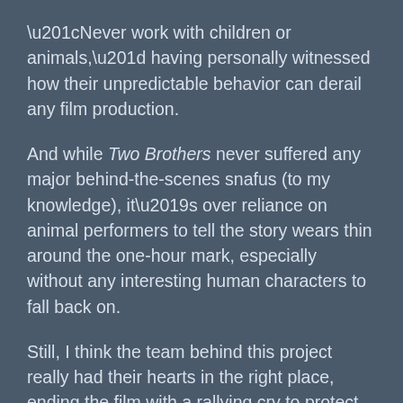“Never work with children or animals,” having personally witnessed how their unpredictable behavior can derail any film production.
And while Two Brothers never suffered any major behind-the-scenes snafus (to my knowledge), it’s over reliance on animal performers to tell the story wears thin around the one-hour mark, especially without any interesting human characters to fall back on.
Still, I think the team behind this project really had their hearts in the right place, ending the film with a rallying cry to protect these endangered Indochinese jungle cats from extinction.